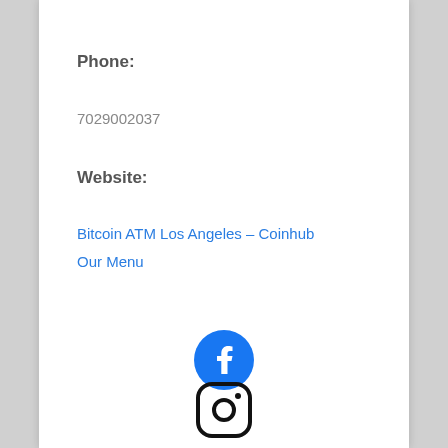Phone:
7029002037
Website:
Bitcoin ATM Los Angeles – Coinhub
Our Menu
[Figure (logo): Facebook logo — blue circle with white 'f' icon]
[Figure (logo): Instagram logo — rounded square outline with camera/circle icon]